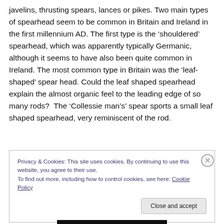javelins, thrusting spears, lances or pikes. Two main types of spearhead seem to be common in Britain and Ireland in the first millennium AD. The first type is the ‘shouldered’ spearhead, which was apparently typically Germanic, although it seems to have also been quite common in Ireland. The most common type in Britain was the ‘leaf-shaped’ spear head. Could the leaf shaped spearhead explain the almost organic feel to the leading edge of so many rods?  The ‘Collessie man’s’ spear sports a small leaf shaped spearhead, very reminiscent of the rod.
Privacy & Cookies: This site uses cookies. By continuing to use this website, you agree to their use.
To find out more, including how to control cookies, see here: Cookie Policy